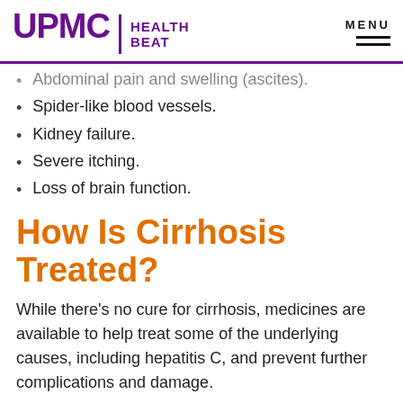UPMC HEALTH BEAT
Abdominal pain and swelling (ascites).
Spider-like blood vessels.
Kidney failure.
Severe itching.
Loss of brain function.
How Is Cirrhosis Treated?
While there's no cure for cirrhosis, medicines are available to help treat some of the underlying causes, including hepatitis C, and prevent further complications and damage.
For people living with cirrhosis, maintaining a